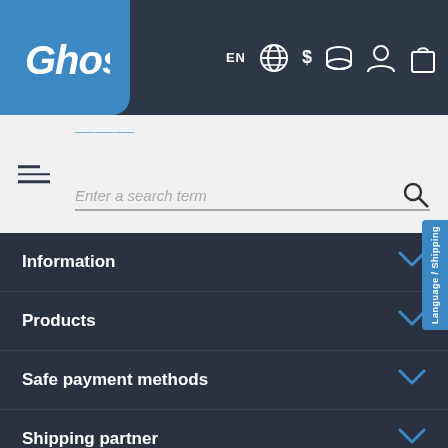[Figure (screenshot): Ghost e-commerce website screenshot showing navigation bar with Ghost logo, EN language selector, currency icon, user icon, cart icon, search bar with hamburger menu, and footer navigation sections for Information, Products, Safe payment methods, Shipping partner, and Contact with a Save 5% button and Language/Shipping sidebar tab.]
Information
Products
Safe payment methods
Shipping partner
Contact